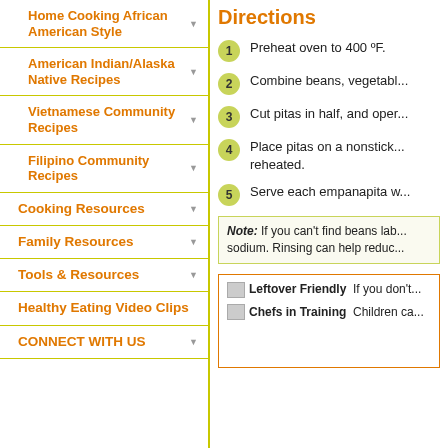Home Cooking African American Style
American Indian/Alaska Native Recipes
Vietnamese Community Recipes
Filipino Community Recipes
Cooking Resources
Family Resources
Tools & Resources
Healthy Eating Video Clips
CONNECT WITH US
Directions
1 Preheat oven to 400 ºF.
2 Combine beans, vegetabl...
3 Cut pitas in half, and oper...
4 Place pitas on a nonstick... reheated.
5 Serve each empanapita w...
Note: If you can't find beans lab... sodium. Rinsing can help reduc...
Leftover Friendly If you don't...
Chefs in Training Children ca...